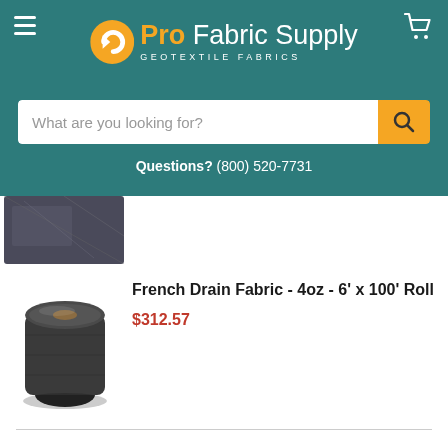Pro Fabric Supply - GEOTEXTILE FABRICS
What are you looking for?
Questions? (800) 520-7731
[Figure (photo): Partial product image of dark fabric roll, cropped at top]
[Figure (photo): Roll of black French Drain Fabric 4oz geotextile]
French Drain Fabric - 4oz - 6' x 100' Roll
$312.57